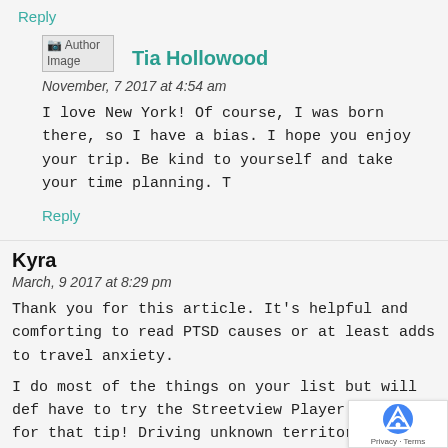Reply
[Figure (illustration): Author image placeholder icon with text 'Author Image']
Tia Hollowood
November, 7 2017 at 4:54 am
I love New York! Of course, I was born there, so I have a bias. I hope you enjoy your trip. Be kind to yourself and take your time planning. T
Reply
Kyra
March, 9 2017 at 8:29 pm
Thank you for this article. It's helpful and comforting to read PTSD causes or at least adds to travel anxiety.
I do most of the things on your list but will def have to try the Streetview Player. Thanks for that tip! Driving unknown territory is one of my biggest stressors.
[Figure (logo): reCAPTCHA badge with Privacy and Terms text]